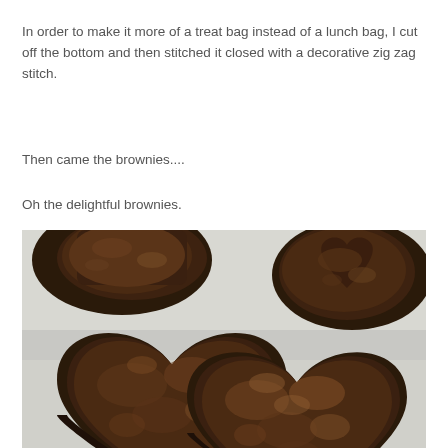In order to make it more of a treat bag instead of a lunch bag, I cut off the bottom and then stitched it closed with a decorative zig zag stitch.
Then came the brownies....
Oh the delightful brownies.
[Figure (photo): Photograph of several heart-shaped chocolate brownies on a light background, shot from a close-up angle. The brownies are dark brown and textured, arranged across the frame.]